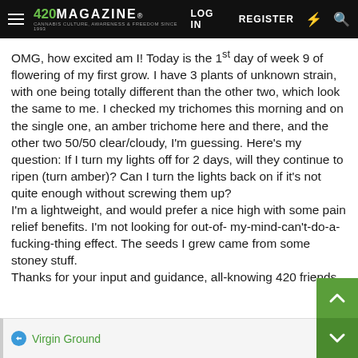420 MAGAZINE® | LOG IN | REGISTER
OMG, how excited am I! Today is the 1st day of week 9 of flowering of my first grow. I have 3 plants of unknown strain, with one being totally different than the other two, which look the same to me. I checked my trichomes this morning and on the single one, an amber trichome here and there, and the other two 50/50 clear/cloudy, I'm guessing. Here's my question: If I turn my lights off for 2 days, will they continue to ripen (turn amber)? Can I turn the lights back on if it's not quite enough without screwing them up?
I'm a lightweight, and would prefer a nice high with some pain relief benefits. I'm not looking for out-of- my-mind-can't-do-a-fucking-thing effect. The seeds I grew came from some stoney stuff.
Thanks for your input and guidance, all-knowing 420 friends.
Virgin Ground